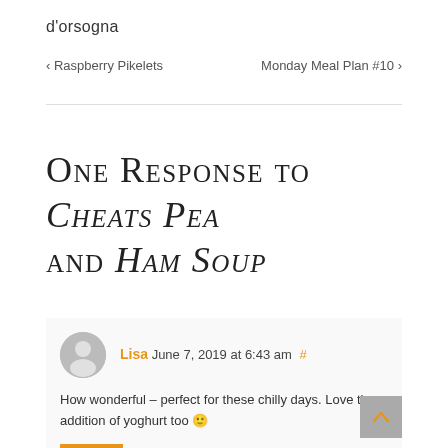d'orsogna
< Raspberry Pikelets    Monday Meal Plan #10 >
One Response to Cheats Pea and Ham Soup
Lisa June 7, 2019 at 6:43 am #
How wonderful – perfect for these chilly days. Love the addition of yoghurt too 🙂
REPLY